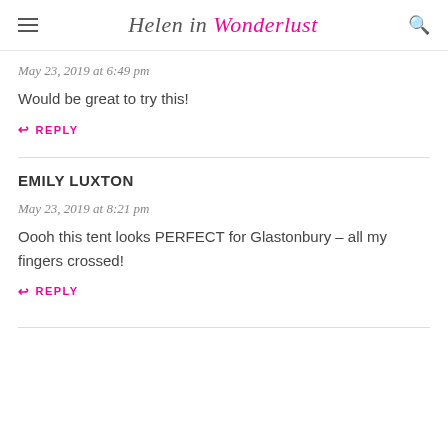Helen in Wonderlust
May 23, 2019 at 6:49 pm
Would be great to try this!
REPLY
EMILY LUXTON
May 23, 2019 at 8:21 pm
Oooh this tent looks PERFECT for Glastonbury – all my fingers crossed!
REPLY